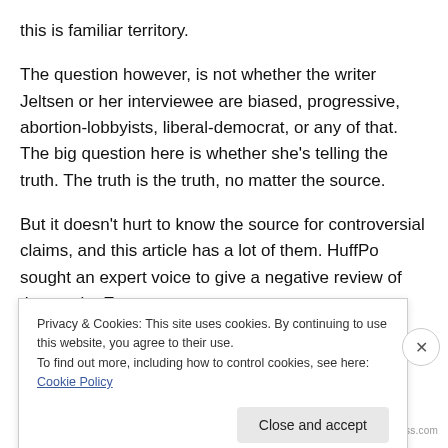this is familiar territory.
The question however, is not whether the writer Jeltsen or her interviewee are biased, progressive, abortion-lobbyists, liberal-democrat, or any of that. The big question here is whether she's telling the truth. The truth is the truth, no matter the source.
But it doesn't hurt to know the source for controversial claims, and this article has a lot of them. HuffPo sought an expert voice to give a negative review of the movie. Enter
Privacy & Cookies: This site uses cookies. By continuing to use this website, you agree to their use.
To find out more, including how to control cookies, see here: Cookie Policy
Close and accept